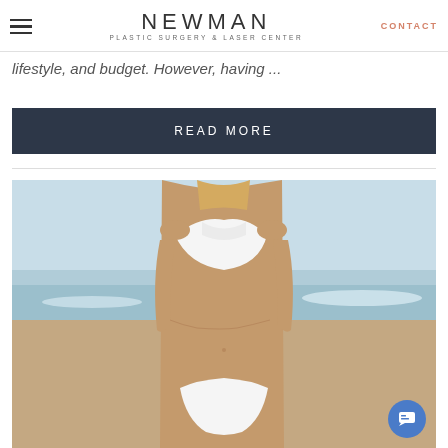NEWMAN PLASTIC SURGERY & LASER CENTER | CONTACT
lifestyle, and budget. However, having ...
READ MORE
[Figure (photo): Woman in white bikini standing on a beach, torso visible, ocean in background]